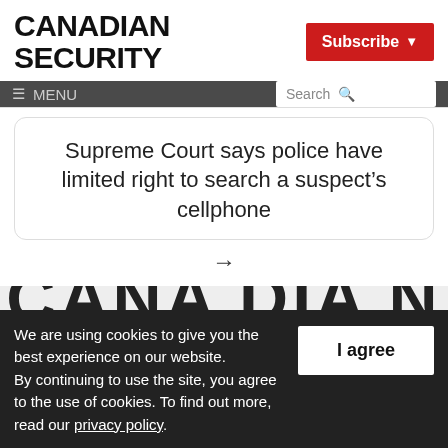CANADIAN SECURITY
Subscribe ▼
≡ MENU    Search 🔍
Supreme Court says police have limited right to search a suspect's cellphone
→
[Figure (screenshot): Partial large bold text showing 'CANADIAN' logo in grey background]
We are using cookies to give you the best experience on our website. By continuing to use the site, you agree to the use of cookies. To find out more, read our privacy policy.
I agree